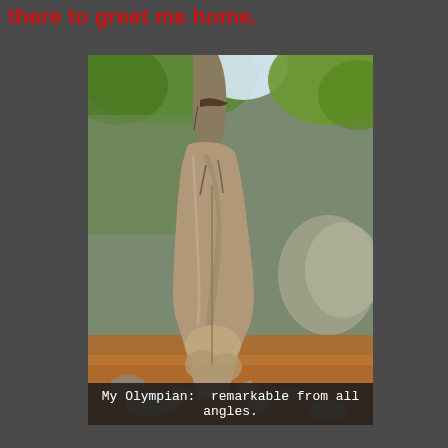there to greet me home.
[Figure (photo): Close-up photograph of a tree trunk base with muscular, humanoid-shaped wood grain and root formations resembling an athletic torso. Background shows rocks, reddish dirt/pine needles, and green foliage.]
My Olympian:  remarkable from all angles.